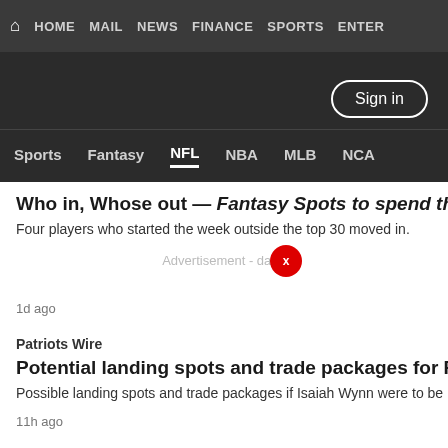HOME  MAIL  NEWS  FINANCE  SPORTS  ENTER
Sports  Fantasy  NFL  NBA  MLB  NCA
Sign in
Who in, Whose out — Fantasy Spots to spend the Year
Four players who started the week outside the top 30 moved in.
Advertisement - dana
1d ago
Patriots Wire
Potential landing spots and trade packages for Patriots O
Possible landing spots and trade packages if Isaiah Wynn were to be
11h ago